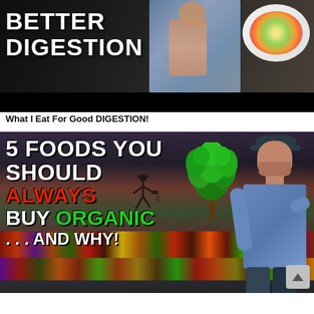[Figure (photo): Thumbnail image showing a muscular man in a gym lifting his shirt, with a bowl of colorful food on the right. Bold white text on dark background reads 'BETTER DIGESTION'. A black bar is at the bottom of the image.]
What I Eat For Good DIGESTION!
[Figure (photo): Thumbnail image of a bearded man wearing a cap holding up a bunch of kale in a grocery store produce section. Bold text overlay reads: '5 FOODS YOU SHOULD ALWAYS BUY ORGANIC ... AND WHY!' with ALWAYS in red and ORGANIC in green. A small walker/pesticide figure icon is visible. A scroll-to-top arrow button is at bottom-right.]